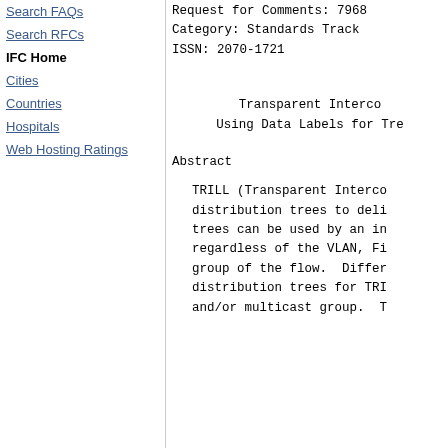Search FAQs
Search RFCs
IFC Home
Cities
Countries
Hospitals
Web Hosting Ratings
Request for Comments: 7968
Category: Standards Track
ISSN: 2070-1721
Transparent Interconnection of Lots of Links (TRILL): Using Data Labels for Tree Selection for Multicast and Unicast
Abstract
TRILL (Transparent Interconnection of Lots of Links) uses distribution trees to deliver multi-destination frames. These trees can be used by an ingress Routing Bridge (RBridge) regardless of the VLAN, Fine-Grained Label (FGL), or multicast group of the flow. Different mechanisms have been used to select distribution trees for TRILL multicast traffic by VLAN and/or multicast group. T